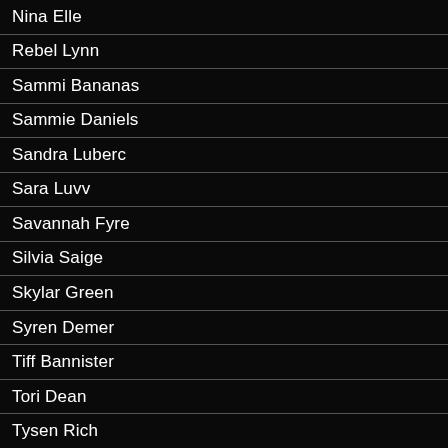Nina Elle
Rebel Lynn
Sammi Bananas
Sammie Daniels
Sandra Luberc
Sara Luvv
Savannah Fyre
Silvia Saige
Skylar Green
Syren Demer
Tiff Bannister
Tori Dean
Tysen Rich